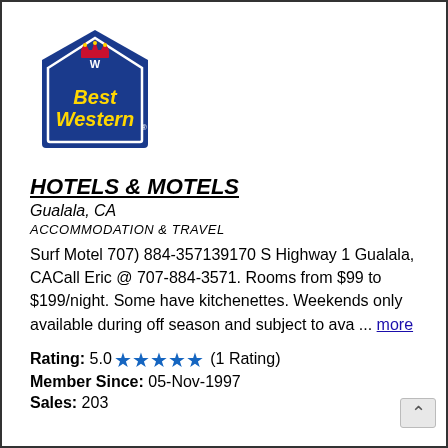[Figure (logo): Best Western logo — blue house/shield shape with gold 'Best Western' text and red crown emblem]
HOTELS & MOTELS
Gualala, CA
ACCOMMODATION & TRAVEL
Surf Motel 707) 884-357139170 S Highway 1 Gualala, CACall Eric @ 707-884-3571. Rooms from $99 to $199/night. Some have kitchenettes. Weekends only available during off season and subject to ava ... more
Rating: 5.0 ★★★★★ (1 Rating)
Member Since: 05-Nov-1997
Sales: 203